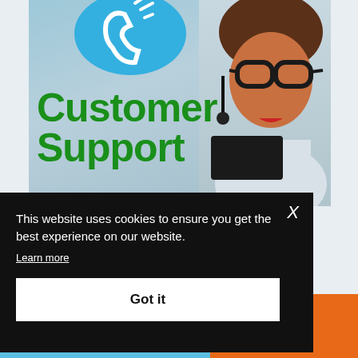[Figure (screenshot): Customer support website screenshot showing a woman wearing headset and glasses, with a blue phone icon circle at the top, and large green text reading 'Customer Support']
This website uses cookies to ensure you get the best experience on our website.
Learn more
Got it